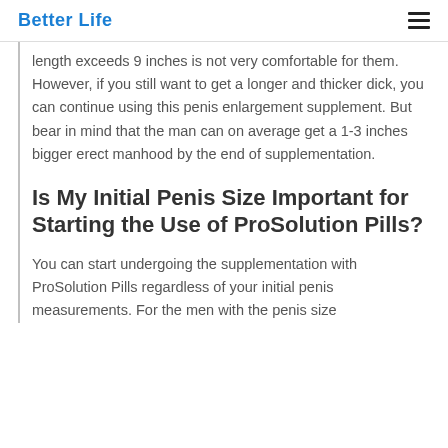Better Life
length exceeds 9 inches is not very comfortable for them. However, if you still want to get a longer and thicker dick, you can continue using this penis enlargement supplement. But bear in mind that the man can on average get a 1-3 inches bigger erect manhood by the end of supplementation.
Is My Initial Penis Size Important for Starting the Use of ProSolution Pills?
You can start undergoing the supplementation with ProSolution Pills regardless of your initial penis measurements. For the men with the penis size